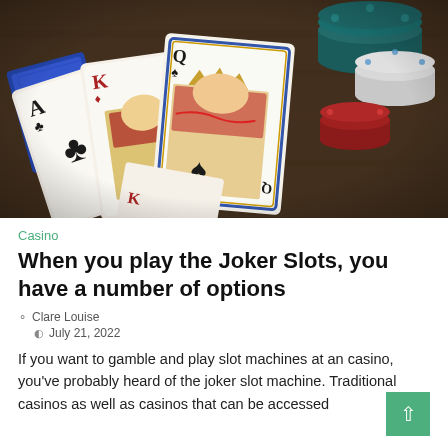[Figure (photo): Playing cards (Ace of clubs, King, Queen of spades) fanned out on a dark wooden table with colorful casino chips in the background]
Casino
When you play the Joker Slots, you have a number of options
Clare Louise
July 21, 2022
If you want to gamble and play slot machines at an casino, you've probably heard of the joker slot machine. Traditional casinos as well as casinos that can be accessed